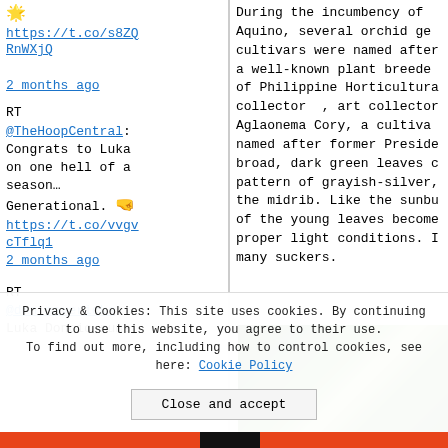🌟 https://t.co/s8ZQRnWXjQ
2 months ago
RT @TheHoopCentral: Congrats to Luka on one hell of a season… Generational. 🤜 https://t.co/vvgvcTflq1
2 months ago
RT @dmn_mavericks: Luka Doncic runs
During the incumbency of Aquino, several orchid gen cultivars were named after a well-known plant breeder of Philippine Horticultura collector , art collector Aglaonema Cory, a cultivar named after former Preside broad, dark green leaves o pattern of grayish-silver, the midrib. Like the sunbu of the young leaves become proper light conditions. I many suckers.
[Figure (photo): Green plant leaves photo, partially visible in the bottom right of the right column]
Privacy & Cookies: This site uses cookies. By continuing to use this website, you agree to their use. To find out more, including how to control cookies, see here: Cookie Policy
Close and accept